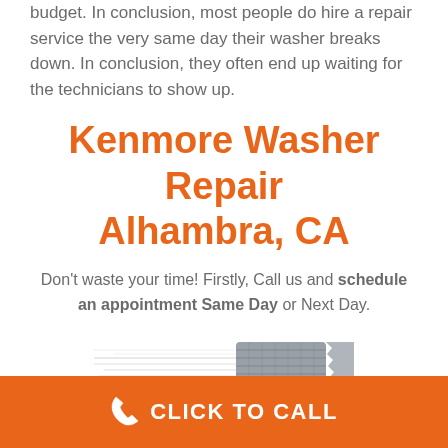budget. In conclusion, most people do hire a repair service the very same day their washer breaks down. In conclusion, they often end up waiting for the technicians to show up.
Kenmore Washer Repair Alhambra, CA
Don't waste your time! Firstly, Call us and schedule an appointment Same Day or Next Day.
[Figure (photo): Side view of a washing machine drum/washer with motion blur lines suggesting speed]
CLICK TO CALL